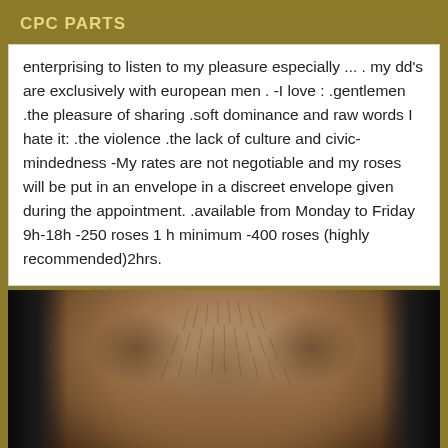CPC PARTS
enterprising to listen to my pleasure especially ... . my dd's are exclusively with european men . -I love : .gentlemen .the pleasure of sharing .soft dominance and raw words I hate it: .the violence .the lack of culture and civic-mindedness -My rates are not negotiable and my roses will be put in an envelope in a discreet envelope given during the appointment. .available from Monday to Friday 9h-18h -250 roses 1 h minimum -400 roses (highly recommended)2hrs.
[Figure (photo): Close-up photo of a person's bare chest/torso with chest hair, flanked by dark leather jacket lapels]